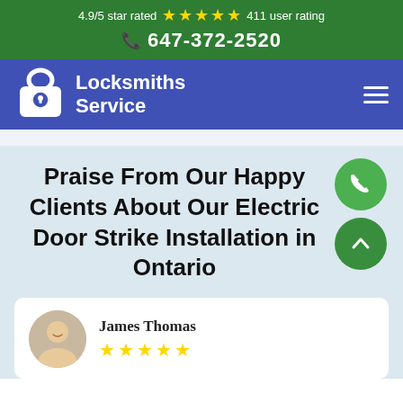4.9/5 star rated ★★★★★ 411 user rating
📞 647-372-2520
[Figure (logo): Locksmiths Service logo with padlock icon on blue/purple navigation bar]
Praise From Our Happy Clients About Our Electric Door Strike Installation in Ontario
James Thomas
[Figure (photo): Circular avatar photo of James Thomas, a smiling man]